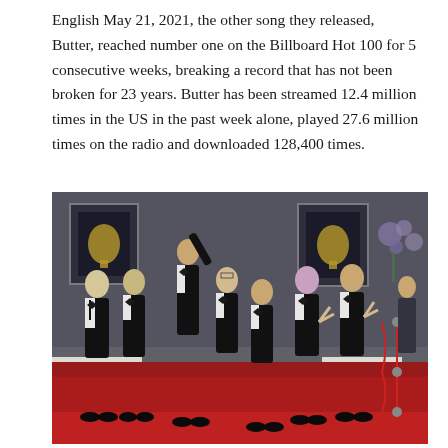English May 21, 2021, the other song they released, Butter, reached number one on the Billboard Hot 100 for 5 consecutive weeks, breaking a record that has not been broken for 23 years. Butter has been streamed 12.4 million times in the US in the past week alone, played 27.6 million times on the radio and downloaded 128,400 times.
[Figure (photo): Group photo of seven young men in black tuxedos posing on a red carpet in front of a grey wall displaying Grammy award plaques. They are making various poses including peace signs and pointing gestures.]